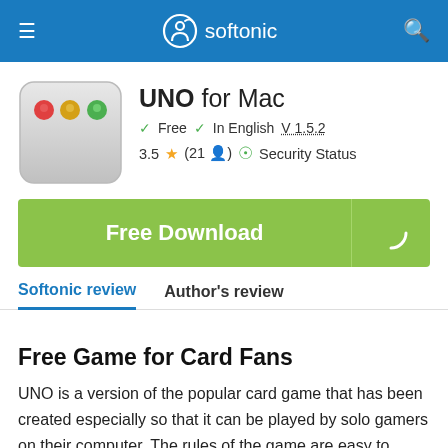softonic
[Figure (screenshot): UNO for Mac application icon — gray window with red, yellow, green traffic light dots]
UNO for Mac
Free  In English  V 1.5.2
3.5  (21)  Security Status
[Figure (other): Free Download button — green button with white bold text]
Softonic review  Author's review
Free Game for Card Fans
UNO is a version of the popular card game that has been created especially so that it can be played by solo gamers on their computer. The rules of the game are easy to understand which means that players of all ages